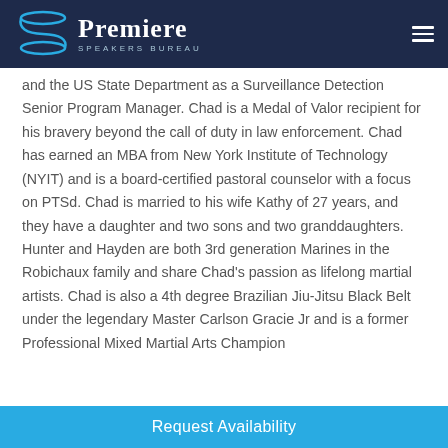Premiere Speakers Bureau
and the US State Department as a Surveillance Detection Senior Program Manager. Chad is a Medal of Valor recipient for his bravery beyond the call of duty in law enforcement. Chad has earned an MBA from New York Institute of Technology (NYIT) and is a board-certified pastoral counselor with a focus on PTSd. Chad is married to his wife Kathy of 27 years, and they have a daughter and two sons and two granddaughters. Hunter and Hayden are both 3rd generation Marines in the Robichaux family and share Chad's passion as lifelong martial artists. Chad is also a 4th degree Brazilian Jiu-Jitsu Black Belt under the legendary Master Carlson Gracie Jr and is a former Professional Mixed Martial Arts Champion
Request Availability